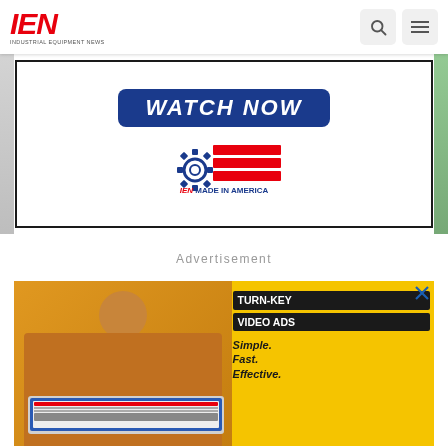IEN INDUSTRIAL EQUIPMENT NEWS
[Figure (illustration): IEN Made in America banner with WATCH NOW button and gear+flag logo]
Advertisement
[Figure (illustration): Yellow advertisement banner: woman holding laptop showing IEN website, with text TURN-KEY VIDEO ADS Simple. Fast. Effective.]